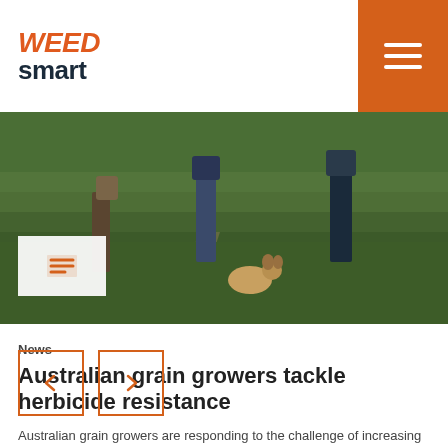WEED smart
[Figure (photo): Three people standing in a green crop field, with a dog sitting in the foreground. An icon box with a list/document icon overlaid on the lower left of the image.]
News
Australian grain growers tackle herbicide resistance
Australian grain growers are responding to the challenge of increasing herbicide resistance in weeds head on through the adoption of integrated weed management practices. Read More...